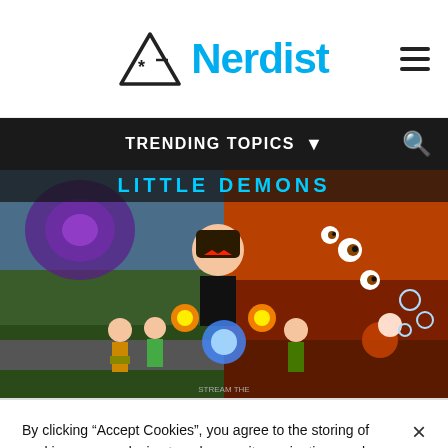Nerdist
[Figure (screenshot): Nerdist website header with triangle asterisk logo and 'Nerdist' text in blue, hamburger menu on right]
[Figure (screenshot): Black navigation bar with 'TRENDING TOPICS' text with dropdown arrow and search icon on right]
[Figure (illustration): Video game artwork showing animated characters battling with energy attacks, split between a suburban street scene and a demonic hellscape environment. Title text 'LITTLE DEMONS' at top.]
By clicking “Accept Cookies”, you agree to the storing of cookies on your device to enhance site navigation, analyze site usage, and assist in our marketing efforts. Privacy Policy
Cookies Settings
Accept Cookies